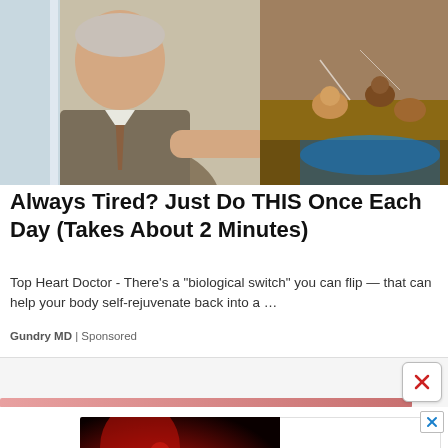[Figure (photo): A man in a suit pointing at something, with a geological cross-section model showing soil layers and small animals]
Always Tired? Just Do THIS Once Each Day (Takes About 2 Minutes)
Top Heart Doctor - There’s a “biological switch” you can flip — that can help your body self-rejuvenate back into a …
Gundry MD | Sponsored
[Figure (screenshot): A pink/red progress bar with a close button (X) overlay]
[Figure (photo): GolfMagic YouTube subscription advertisement banner. Left side: dark red background with silhouette of golfer and text SUBSCRIBE TO GOLFMAGIC in white italic bold. Right side: white background with GolfMagic logo text and YouTube badge.]